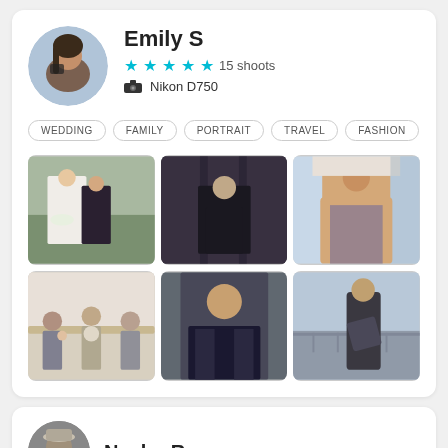Emily S
★★★★★ 15 shoots
Nikon D750
WEDDING
FAMILY
PORTRAIT
TRAVEL
FASHION
[Figure (photo): Wedding couple outdoors with flowers]
[Figure (photo): Man on dark staircase]
[Figure (photo): Woman smiling in beige coat]
[Figure (photo): Family at dining table]
[Figure (photo): Man in dark jacket looking at camera]
[Figure (photo): Couple embracing near waterfront]
Nacho R